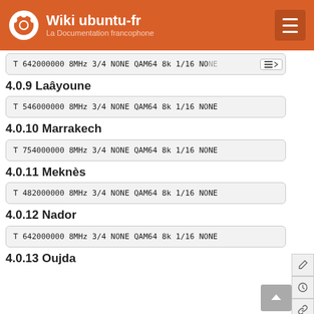Wiki ubuntu-fr — La Documentation francophone
T 642000000 8MHz 3/4 NONE QAM64 8k 1/16 NONE
4.0.9 Laâyoune
T 546000000 8MHz 3/4 NONE QAM64 8k 1/16 NONE
4.0.10 Marrakech
T 754000000 8MHz 3/4 NONE QAM64 8k 1/16 NONE
4.0.11 Meknès
T 482000000 8MHz 3/4 NONE QAM64 8k 1/16 NONE
4.0.12 Nador
T 642000000 8MHz 3/4 NONE QAM64 8k 1/16 NONE
4.0.13 Oujda